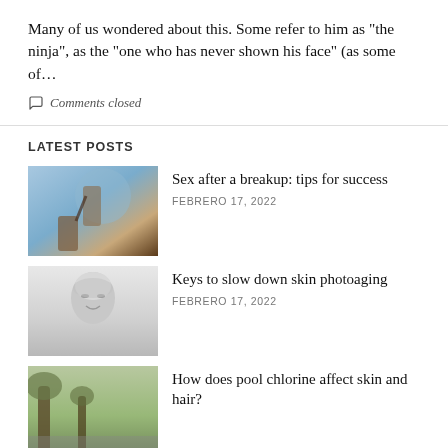Many of us wondered about this. Some refer to him as “the ninja”, as the “one who has never shown his face” (as some of…
Comments closed
LATEST POSTS
[Figure (photo): Two people holding hands or reaching toward each other against a light blue sky background]
Sex after a breakup: tips for success
FEBRERO 17, 2022
[Figure (photo): Close-up black and white portrait of a woman’s face with short hair]
Keys to slow down skin photoaging
FEBRERO 17, 2022
[Figure (photo): Outdoor scene with trees and a person, warm tones]
How does pool chlorine affect skin and hair?